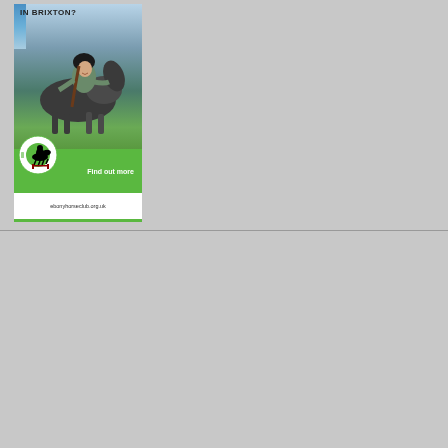[Figure (illustration): Ebony Horse Club advertisement banner. Shows 'IN BRIXTON?' text at top with blue stripe. Photo of a smiling female rider in helmet with a horse. Green section at bottom with circular logo of horse and rider, 'Find out more' text. White section with 'ebonyhorseclub.org.uk' URL. Green bar at very bottom.]
[Figure (logo): SEE (South East Equestrian?) advertisement on purple/indigo background. White circle with SEE logo showing horse silhouettes and text. 'Yellow Ribbon Sponsor' text in white. Medal/ribbon graphic at bottom.]